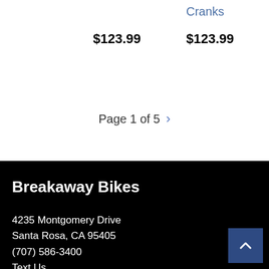Cranks
$123.99
$123.99
Page 1 of 5
Breakaway Bikes
4235 Montgomery Drive
Santa Rosa, CA 95405
(707) 586-3400
Text Us